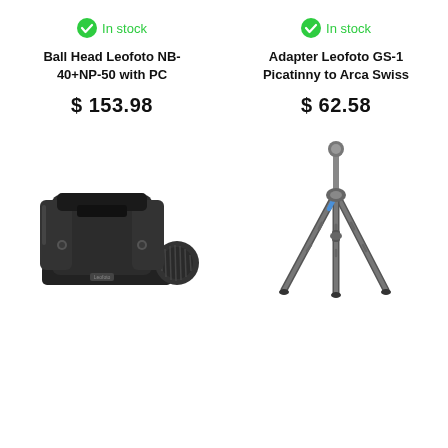In stock
Ball Head Leofoto NB-40+NP-50 with PC
$ 153.98
[Figure (photo): Leofoto ball head camera mount accessory, black, showing clamp and knob]
In stock
Adapter Leofoto GS-1 Picatinny to Arca Swiss
$ 62.58
[Figure (photo): Carbon fiber tripod with three legs spread open, no head attached]